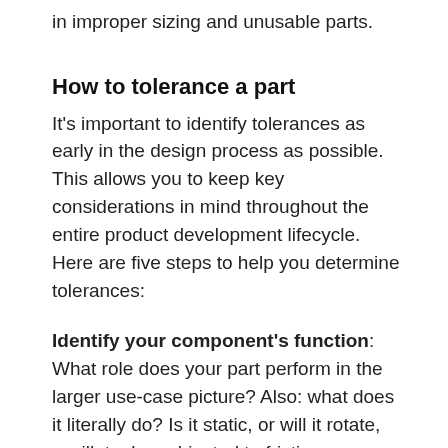in improper sizing and unusable parts.
How to tolerance a part
It's important to identify tolerances as early in the design process as possible. This allows you to keep key considerations in mind throughout the entire product development lifecycle. Here are five steps to help you determine tolerances:
Identify your component's function: What role does your part perform in the larger use-case picture? Also: what does it literally do? Is it static, or will it rotate, oscillate, be subjected to friction, or require load bearing? Is it part of a larger assembly? All these questions will help you define your dimensional tolerances.Consider your manufacturing procedures: Just like materials, distinct manufacturing methods and tools may